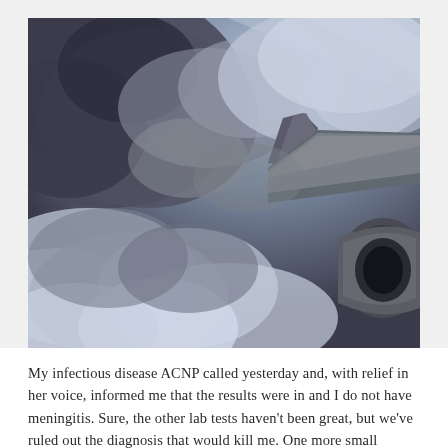[Figure (photo): View from airplane window showing dramatic dark storm clouds and the aircraft's wing and engine, in black and white / dramatic tones]
My infectious disease ACNP called yesterday and, with relief in her voice, informed me that the results were in and I do not have meningitis. Sure, the other lab tests haven't been great, but we've ruled out the diagnosis that would kill me. One more small victory. We'll